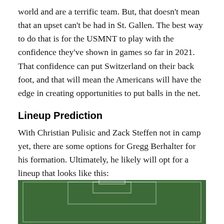world and are a terrific team. But, that doesn't mean that an upset can't be had in St. Gallen. The best way to do that is for the USMNT to play with the confidence they've shown in games so far in 2021. That confidence can put Switzerland on their back foot, and that will mean the Americans will have the edge in creating opportunities to put balls in the net.
Lineup Prediction
With Christian Pulisic and Zack Steffen not in camp yet, there are some options for Gregg Berhalter for his formation. Ultimately, he likely will opt for a lineup that looks like this:
[Figure (illustration): A soccer/football pitch diagram shown from above, with green field and white line markings indicating the goal area and penalty box at the top of the field. The bottom portion of the image is visible showing the pitch layout.]